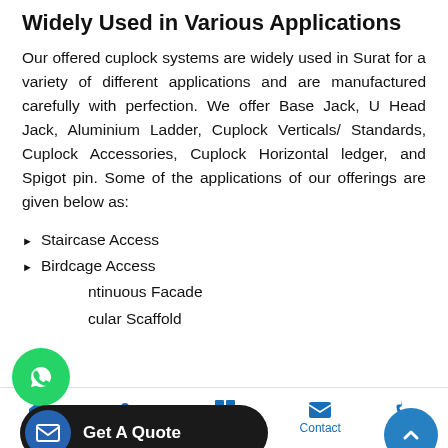Widely Used in Various Applications
Our offered cuplock systems are widely used in Surat for a variety of different applications and are manufactured carefully with perfection. We offer Base Jack, U Head Jack, Aluminium Ladder, Cuplock Verticals/ Standards, Cuplock Accessories, Cuplock Horizontal ledger, and Spigot pin. Some of the applications of our offerings are given below as:
Staircase Access
Birdcage Access
Continuous Facade
Modular Scaffold
es
Being Vadodara based company, we are also well-